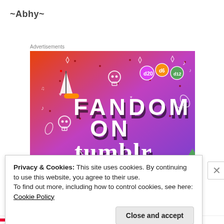~Abhy~
Advertisements
[Figure (illustration): Colorful Tumblr advertisement with orange-to-purple gradient background, doodle illustrations (sailboat, skulls, music notes, dice, hearts, arrows), and bold text reading 'FANDOM ON tumblr']
Privacy & Cookies: This site uses cookies. By continuing to use this website, you agree to their use.
To find out more, including how to control cookies, see here: Cookie Policy
Close and accept